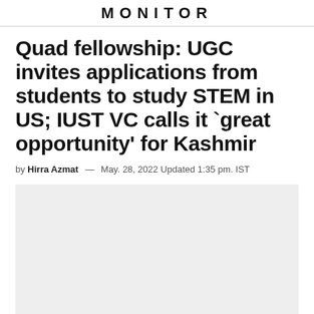MONITOR
Quad fellowship: UGC invites applications from students to study STEM in US; IUST VC calls it `great opportunity' for Kashmir
by Hirra Azmat — May. 28, 2022 Updated 1:35 pm. IST
[Figure (photo): Light gray placeholder image area]